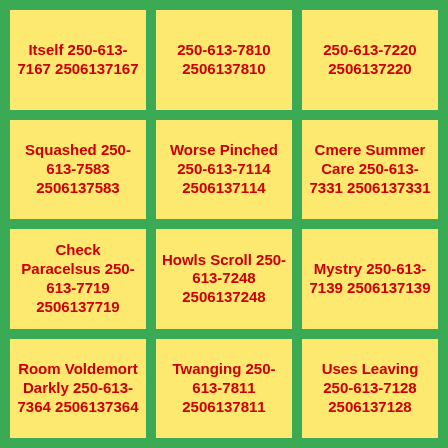Itself 250-613-7167 2506137167
250-613-7810 2506137810
250-613-7220 2506137220
Squashed 250-613-7583 2506137583
Worse Pinched 250-613-7114 2506137114
Cmere Summer Care 250-613-7331 2506137331
Check Paracelsus 250-613-7719 2506137719
Howls Scroll 250-613-7248 2506137248
Mystry 250-613-7139 2506137139
Room Voldemort Darkly 250-613-7364 2506137364
Twanging 250-613-7811 2506137811
Uses Leaving 250-613-7128 2506137128